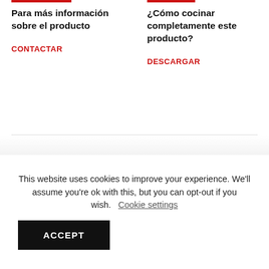Para más información sobre el producto
CONTACTAR
¿Cómo cocinar completamente este producto?
DESCARGAR
This website uses cookies to improve your experience. We'll assume you're ok with this, but you can opt-out if you wish. Cookie settings
ACCEPT